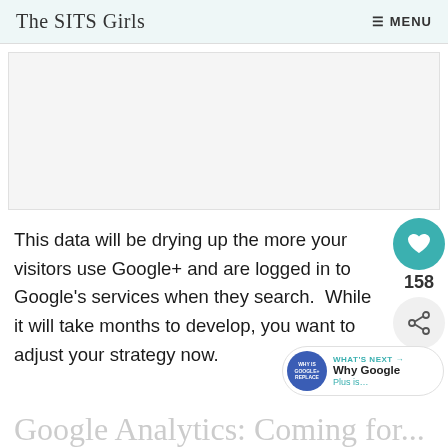The SITS Girls   ≡ MENU
[Figure (other): Advertisement or blank image placeholder area]
This data will be drying up the more your visitors use Google+ and are logged in to Google's services when they search.  While it will take months to develop, you want to adjust your strategy now.
Google Analytics: Coming for...